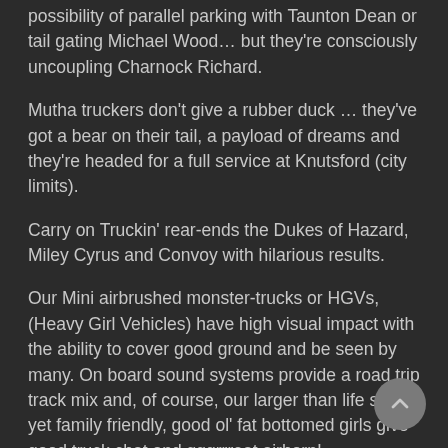possibility of parallel parking with Taunton Dean or tail gating Michael Wood… but they're consciously uncoupling Charnock Richard.
Mutha truckers don't give a rubber duck … they've got a bear on their tail, a payload of dreams and they're headed for a full service at Knutsford (city limits).
Carry on Truckin' rear-ends the Dukes of Hazard, Miley Cyrus and Convoy with hilarious results.
Our Mini airbrushed monster-trucks or HGVs, (Heavy Girl Vehicles) have high visual impact with the ability to cover good ground and be seen by many. On board sound systems provide a road trip track mix and, of course, our larger than life saucy yet family friendly, good ol' fat bottomed girls give good truck chat and gggrrreat airhorn!
Hold onto your hats for a new kind of convoy! The Mutha Truckers are headin' into town. Ready for a good old road